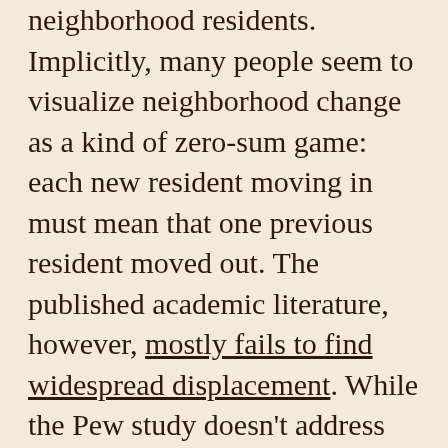neighborhood residents. Implicitly, many people seem to visualize neighborhood change as a kind of zero-sum game: each new resident moving in must mean that one previous resident moved out. The published academic literature, however, mostly fails to find widespread displacement. While the Pew study doesn't address displacement directly, their research provides an interesting sidelight to this question.
The authors of the study also graciously provided us with unpublished data on the population levels for each of the Census tracts in their study, with data sorted